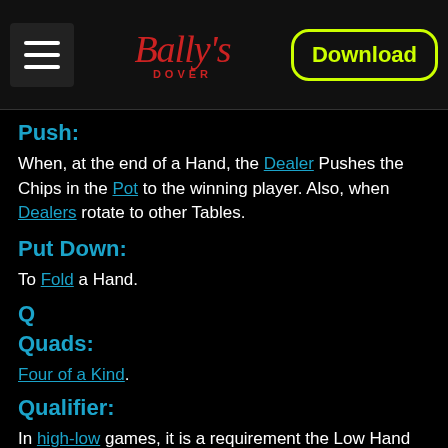Bally's Dover | Download
Push:
When, at the end of a Hand, the Dealer Pushes the Chips in the Pot to the winning player. Also, when Dealers rotate to other Tables.
Put Down:
To Fold a Hand.
Q
Quads:
Four of a Kind.
Qualifier:
In high-low games, it is a requirement the Low Hand must meet to win the Pot.